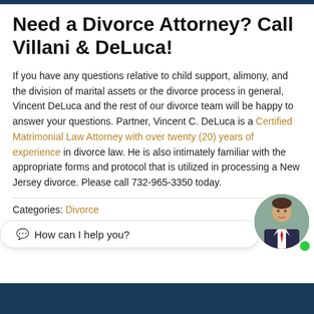Need a Divorce Attorney?  Call Villani & DeLuca!
If you have any questions relative to child support, alimony, and the division of marital assets or the divorce process in general, Vincent DeLuca and the rest of our divorce team will be happy to answer your questions. Partner, Vincent C. DeLuca is a Certified Matrimonial Law Attorney with over twenty (20) years of experience in divorce law. He is also intimately familiar with the appropriate forms and protocol that is utilized in processing a New Jersey divorce.  Please call 732-965-3350 today.
Categories: Divorce
[Figure (photo): Chat bubble saying 'How can I help you?' with a circular avatar photo of a man in a suit and tie, and a green online indicator dot]